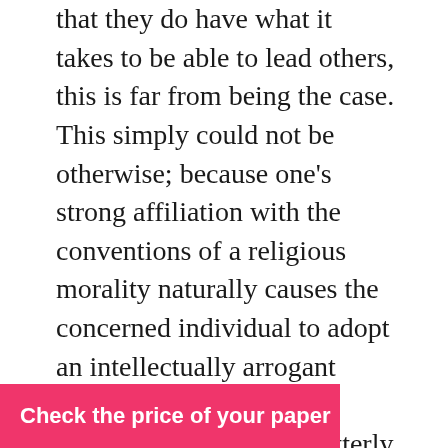that they do have what it takes to be able to lead others, this is far from being the case. This simply could not be otherwise; because one's strong affiliation with the conventions of a religious morality naturally causes the concerned individual to adopt an intellectually arrogant stance in life. As a result, such a person becomes utterly incapable of assessing the surrounding reality adequately. Another consequence of the religious people's intellectual arrogance is that as time goes on, they begin to accept as true the essentially nonsensical fables, such as the Biblical accounts of talking donkeys, impregnating 'holy ghosts' and the sun standing still in the sky.

Even though that, on a conscious level, religious people do realize the sheer fallaciousness of the earlier mentioned accounts, they nevertheless apply the voice of reason in that they may
Check the price of your paper